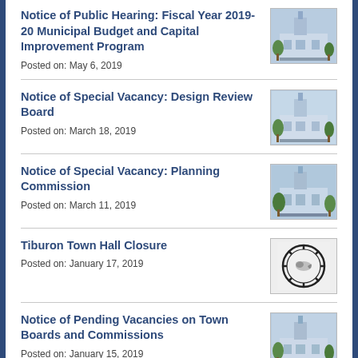Notice of Public Hearing: Fiscal Year 2019-20 Municipal Budget and Capital Improvement Program
Posted on: May 6, 2019
[Figure (photo): Photo of a municipal building with tower]
Notice of Special Vacancy: Design Review Board
Posted on: March 18, 2019
[Figure (photo): Photo of a municipal building with tower]
Notice of Special Vacancy: Planning Commission
Posted on: March 11, 2019
[Figure (photo): Photo of a municipal building with tower]
Tiburon Town Hall Closure
Posted on: January 17, 2019
[Figure (logo): Town of Tiburon circular seal/logo]
Notice of Pending Vacancies on Town Boards and Commissions
Posted on: January 15, 2019
[Figure (photo): Photo of a municipal building with tower]